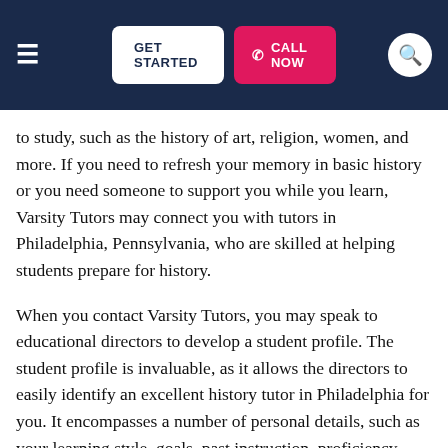GET STARTED | CALL NOW
to study, such as the history of art, religion, women, and more. If you need to refresh your memory in basic history or you need someone to support you while you learn, Varsity Tutors may connect you with tutors in Philadelphia, Pennsylvania, who are skilled at helping students prepare for history.
When you contact Varsity Tutors, you may speak to educational directors to develop a student profile. The student profile is invaluable, as it allows the directors to easily identify an excellent history tutor in Philadelphia for you. It encompasses a number of personal details, such as your learning style, goals, past instruction, proficiency level, and more. Upon selecting your independent tutor, you may begin working alongside him or her to develop a flexible learning plan that may help